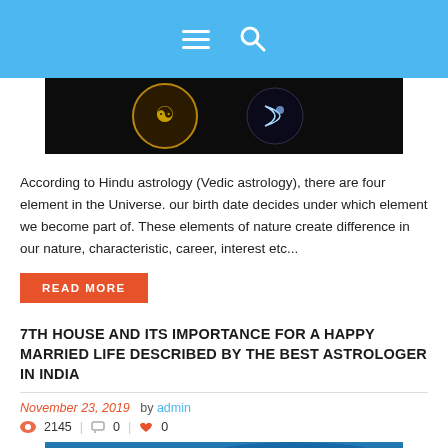Navigation bar with menu and search icons
[Figure (photo): Dark image showing astrology symbols — a sun/coin symbol on the left and a glowing moon/spiral symbol on the right, on a black/dark background.]
According to Hindu astrology (Vedic astrology), there are four element in the Universe. our birth date decides under which element we become part of. These elements of nature create difference in our nature, characteristic, career, interest etc...
READ MORE
7TH HOUSE AND ITS IMPORTANCE FOR A HAPPY MARRIED LIFE DESCRIBED BY THE BEST ASTROLOGER IN INDIA
November 23, 2019  by admin
👁 2145  |  💬 0  |  ❤ 0
[Figure (photo): Blue-toned abstract image, partially visible at the bottom, likely a decorative article header image.]